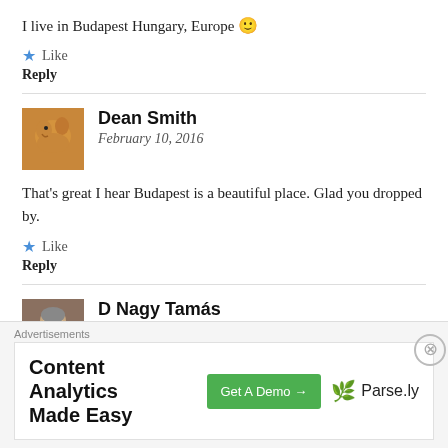I live in Budapest Hungary, Europe 🙂
⭐ Like
Reply
Dean Smith
February 10, 2016
That's great I hear Budapest is a beautiful place. Glad you dropped by.
⭐ Like
Reply
D Nagy Tamás
[Figure (infographic): Advertisement banner: Content Analytics Made Easy — Get A Demo → Parse.ly]